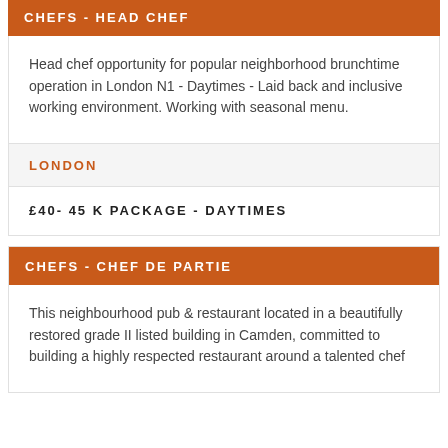CHEFS - HEAD CHEF
Head chef opportunity for popular neighborhood brunchtime operation in London N1 - Daytimes - Laid back and inclusive working environment. Working with seasonal menu.
LONDON
£40- 45 K PACKAGE - DAYTIMES
CHEFS - CHEF DE PARTIE
This neighbourhood pub & restaurant located in a beautifully restored grade II listed building in Camden, committed to building a highly respected restaurant around a talented chef